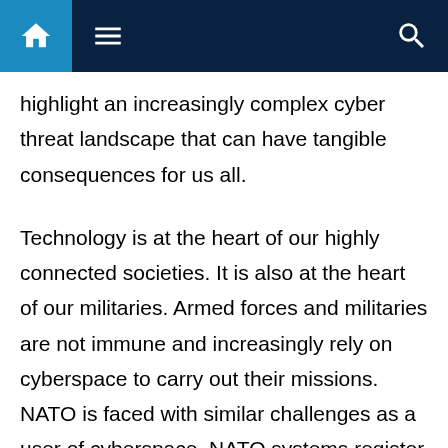Navigation bar with home, menu, and search icons
highlight an increasingly complex cyber threat landscape that can have tangible consequences for us all.
Technology is at the heart of our highly connected societies. It is also at the heart of our militaries. Armed forces and militaries are not immune and increasingly rely on cyberspace to carry out their missions. NATO is faced with similar challenges as a user of cyberspace. NATO systems register a significant number of suspicious incidents on a daily basis. The majority are dealt with automatically, but some require further analysis and response by experts. Cyber defence is